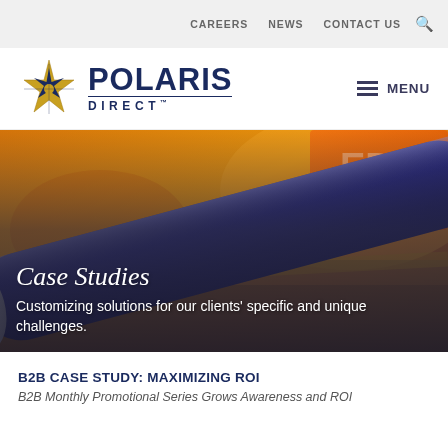CAREERS   NEWS   CONTACT US
[Figure (logo): Polaris Direct logo with gold star and navy blue text]
[Figure (photo): Close-up hero image of a blue pen resting on colorful documents/folders with Case Studies overlay text]
Case Studies
Customizing solutions for our clients' specific and unique challenges.
B2B CASE STUDY: MAXIMIZING ROI
B2B Monthly Promotional Series Grows Awareness and ROI